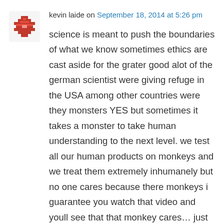[Figure (other): Red pixel-art style avatar icon, roughly 62x62px, resembling a decorative cross/diamond pattern in red on white background]
kevin laide on September 18, 2014 at 5:26 pm
science is meant to push the boundaries of what we know sometimes ethics are cast aside for the grater good alot of the german scientist were giving refuge in the USA among other countries were they monsters YES but sometimes it takes a monster to take human understanding to the next level. we test all our human products on monkeys and we treat them extremely inhumanely but no one cares because there monkeys i guarantee you watch that video and youll see that that monkey cares… just putting the argument out there im against inhumanity
★ Like